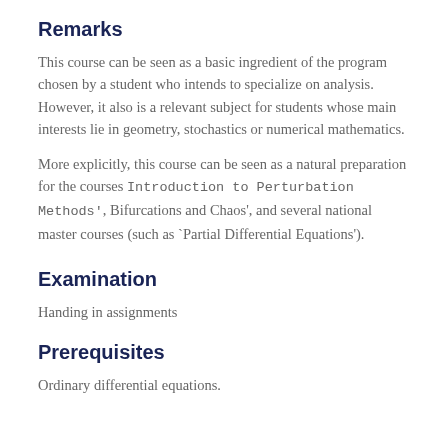Remarks
This course can be seen as a basic ingredient of the program chosen by a student who intends to specialize on analysis. However, it also is a relevant subject for students whose main interests lie in geometry, stochastics or numerical mathematics.
More explicitly, this course can be seen as a natural preparation for the courses Introduction to Perturbation Methods', Bifurcations and Chaos', and several national master courses (such as `Partial Differential Equations').
Examination
Handing in assignments
Prerequisites
Ordinary differential equations.